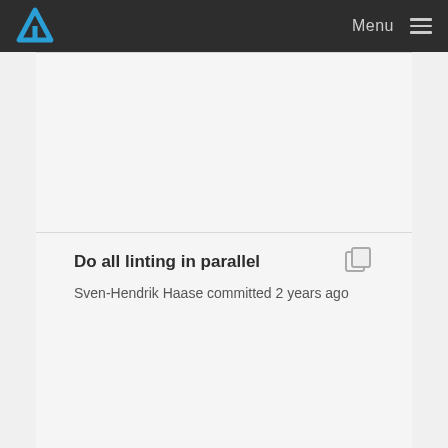Menu
Do all linting in parallel
Sven-Hendrik Haase committed 2 years ago